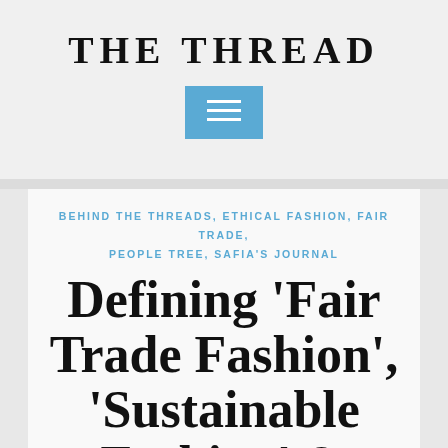THE THREAD
[Figure (other): Blue hamburger menu button with three white horizontal lines]
BEHIND THE THREADS, ETHICAL FASHION, FAIR TRADE, PEOPLE TREE, SAFIA'S JOURNAL
Defining 'Fair Trade Fashion', 'Sustainable Fashion' & 'Ethical Fashion'